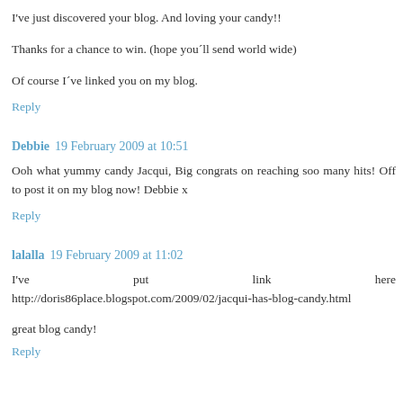I've just discovered your blog. And loving your candy!!
Thanks for a chance to win. (hope you´ll send world wide)
Of course I´ve linked you on my blog.
Reply
Debbie  19 February 2009 at 10:51
Ooh what yummy candy Jacqui, Big congrats on reaching soo many hits! Off to post it on my blog now! Debbie x
Reply
lalalla  19 February 2009 at 11:02
I've put link here http://doris86place.blogspot.com/2009/02/jacqui-has-blog-candy.html
great blog candy!
Reply